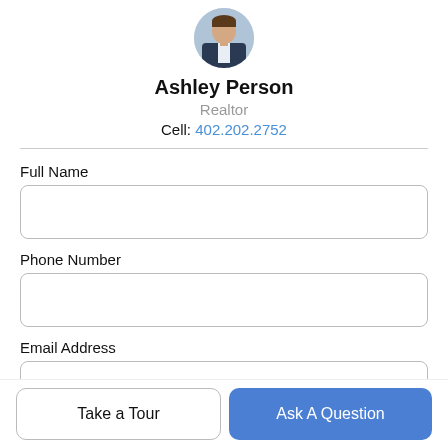[Figure (photo): Circular profile photo of a man in a dark suit jacket with a light shirt, cropped headshot.]
Ashley Person
Realtor
Cell: 402.202.2752
Full Name
Phone Number
Email Address
Take a Tour
Ask A Question